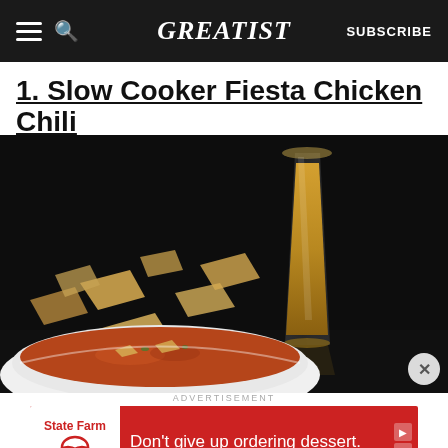GREATIST | SUBSCRIBE
1. Slow Cooker Fiesta Chicken Chili
[Figure (photo): Dark background food photo showing a white bowl of chili with tortilla chips scattered nearby and a glass of beer/amber liquid in the background, on a dark reflective surface.]
ADVERTISEMENT
[Figure (infographic): State Farm advertisement banner with red background. Left side has white panel with State Farm logo. Text reads: Don't give up ordering dessert.]